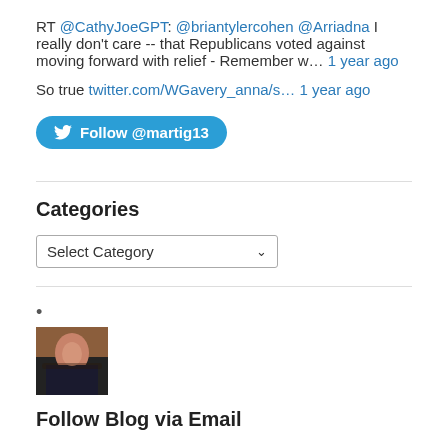RT @CathyJoeGPT: @briantylercohen @Arriadna I really don't care -- that Republicans voted against moving forward with relief - Remember w… 1 year ago
So true twitter.com/WGavery_anna/s… 1 year ago
Follow @martig13
Categories
Select Category
[Figure (photo): Small profile photo of a person with dark hair wearing a dark jacket]
Follow Blog via Email